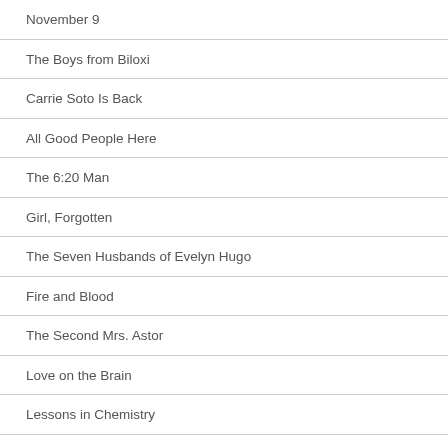November 9
The Boys from Biloxi
Carrie Soto Is Back
All Good People Here
The 6:20 Man
Girl, Forgotten
The Seven Husbands of Evelyn Hugo
Fire and Blood
The Second Mrs. Astor
Love on the Brain
Lessons in Chemistry
All Your Perfects
One Night with an Earl